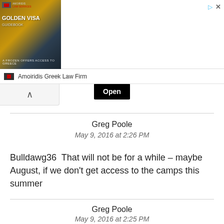[Figure (other): Advertisement banner for Golden Visa in Greece with an image of a pool/luxury property, text 'Golden Visa in Greece' and an 'Open' button. Top right shows play and close icons.]
Amoiridis Greek Law Firm
Greg Poole
May 9, 2016 at 2:26 PM
Bulldawg36  That will not be for a while – maybe August, if we don't get access to the camps this summer
Greg Poole
May 9, 2016 at 2:25 PM